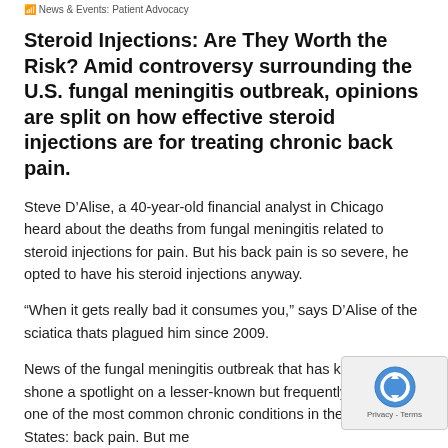News & Events: Patient Advocacy
Steroid Injections: Are They Worth the Risk? Amid controversy surrounding the U.S. fungal meningitis outbreak, opinions are split on how effective steroid injections are for treating chronic back pain.
Steve D'Alise, a 40-year-old financial analyst in Chicago heard about the deaths from fungal meningitis related to steroid injections for pain. But his back pain is so severe, he opted to have his steroid injections anyway.
“When it gets really bad it consumes you,” says D’Alise of the sciatica thats plagued him since 2009.
News of the fungal meningitis outbreak that has killed 12 has shone a spotlight on a lesser-known but frequently used fix for one of the most common chronic conditions in the United States: back pain. But medical experts and a large body of research call